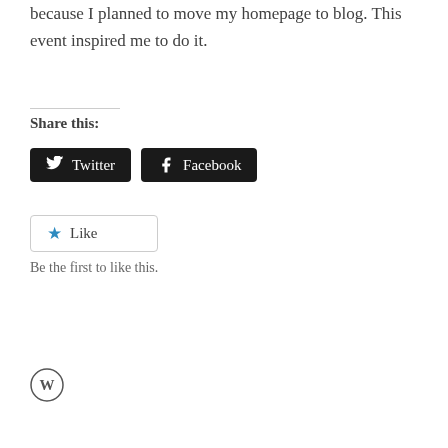because I planned to move my homepage to blog. This event inspired me to do it.
Share this:
[Figure (other): Twitter and Facebook share buttons (dark rounded rectangles with icons and text)]
[Figure (other): Like button (white rounded rectangle with blue star icon and 'Like' text)]
Be the first to like this.
[Figure (logo): WordPress logo (circle with W icon)]